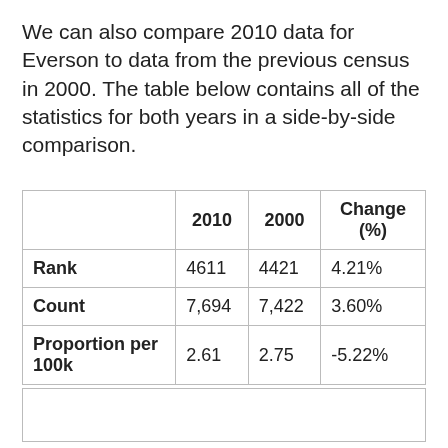We can also compare 2010 data for Everson to data from the previous census in 2000. The table below contains all of the statistics for both years in a side-by-side comparison.
|  | 2010 | 2000 | Change (%) |
| --- | --- | --- | --- |
| Rank | 4611 | 4421 | 4.21% |
| Count | 7,694 | 7,422 | 3.60% |
| Proportion per 100k | 2.61 | 2.75 | -5.22% |